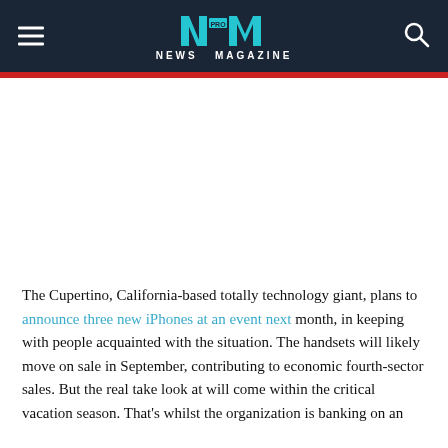NM PRO NEWS MAGAZINE
The Cupertino, California-based totally technology giant, plans to announce three new iPhones at an event next month, in keeping with people acquainted with the situation. The handsets will likely move on sale in September, contributing to economic fourth-sector sales. But the real take look at will come within the critical vacation season. That's whilst the organization is banking on an